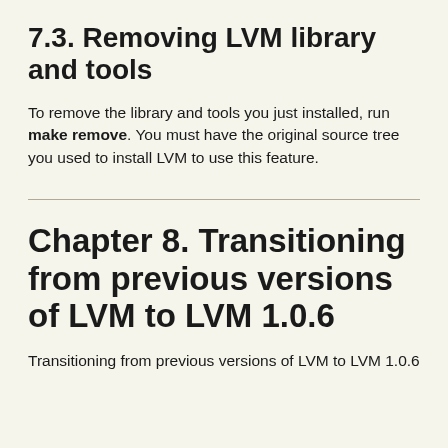7.3. Removing LVM library and tools
To remove the library and tools you just installed, run make remove. You must have the original source tree you used to install LVM to use this feature.
Chapter 8. Transitioning from previous versions of LVM to LVM 1.0.6
Transitioning from previous versions of LVM to LVM 1.0.6